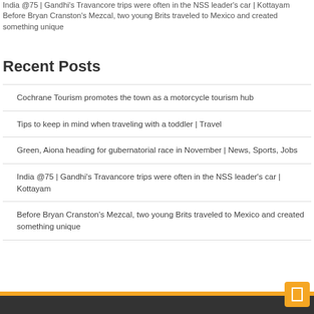India @75 | Gandhi's Travancore trips were often in the NSS leader's car | Kottayam
Before Bryan Cranston's Mezcal, two young Brits traveled to Mexico and created something unique
Recent Posts
Cochrane Tourism promotes the town as a motorcycle tourism hub
Tips to keep in mind when traveling with a toddler | Travel
Green, Aiona heading for gubernatorial race in November | News, Sports, Jobs
India @75 | Gandhi's Travancore trips were often in the NSS leader's car | Kottayam
Before Bryan Cranston's Mezcal, two young Brits traveled to Mexico and created something unique